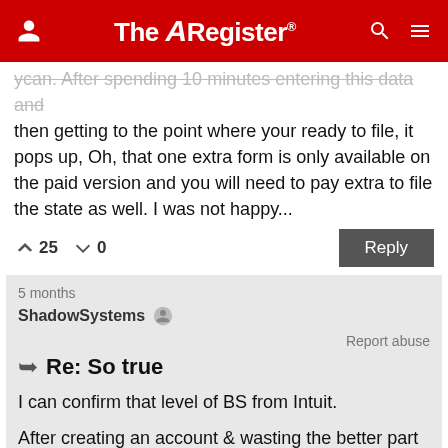The Register
ycan. After spending 10 minutes entering this data and then getting to the point where your ready to file, it pops up, Oh, that one extra form is only available on the paid version and you will need to pay extra to file the state as well. I was not happy...
↑25  ↓0   Reply
5 months
ShadowSystems
Report abuse
Re: So true
I can confirm that level of BS from Intuit.
After creating an account & wasting the better part of a day trying to get my screen reader to make any sense of their site, entering in all my details, & trying to file for free, only to get slapped with the "you need to pay to file" bit. I killed the account &